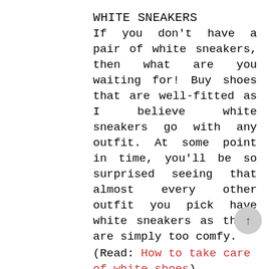WHITE SNEAKERS
If you don't have a pair of white sneakers, then what are you waiting for! Buy shoes that are well-fitted as I believe white sneakers go with any outfit. At some point in time, you'll be so surprised seeing that almost every other outfit you pick have white sneakers as these are simply too comfy.
(Read: How to take care of white shoes)
BLOCK SANDALS
Block heels are a classic pair of shoes you must own to pair with a nice summer dress. On simple occasions you can wear a pair of flats, however, to make a fashion statement, head for